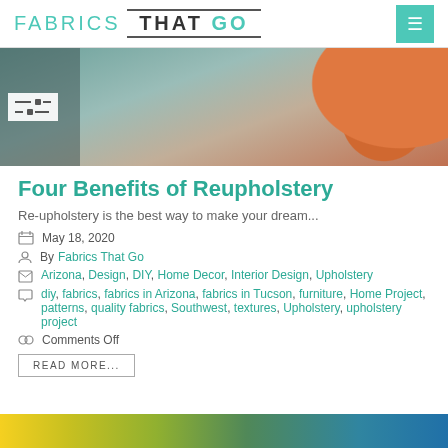FABRICS THAT GO
[Figure (photo): Close-up photo of upholstered furniture with grey and orange/polka-dot fabric pillows]
Four Benefits of Reupholstery
Re-upholstery is the best way to make your dream...
May 18, 2020
By Fabrics That Go
Arizona, Design, DIY, Home Decor, Interior Design, Upholstery
diy, fabrics, fabrics in Arizona, fabrics in Tucson, furniture, Home Project, patterns, quality fabrics, Southwest, textures, Upholstery, upholstery project
Comments Off
READ MORE...
[Figure (photo): Colorful fabric photo at the bottom of the page]